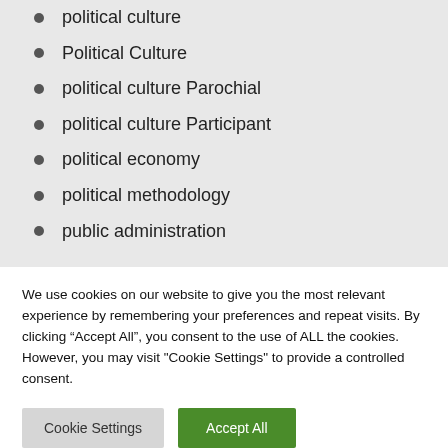political culture
Political Culture
political culture Parochial
political culture Participant
political economy
political methodology
public administration
We use cookies on our website to give you the most relevant experience by remembering your preferences and repeat visits. By clicking “Accept All”, you consent to the use of ALL the cookies. However, you may visit "Cookie Settings" to provide a controlled consent.
Cookie Settings | Accept All